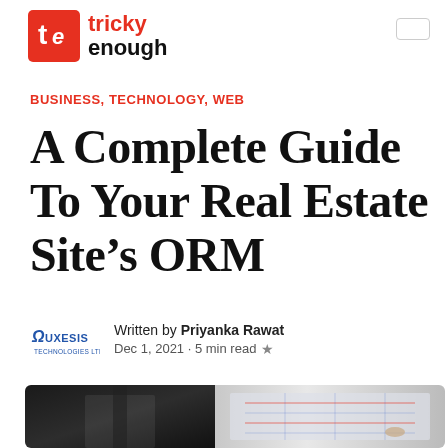Tricky Enough
BUSINESS, TECHNOLOGY, WEB
A Complete Guide To Your Real Estate Site's ORM
Written by Priyanka Rawat
Dec 1, 2021 · 5 min read ★
[Figure (photo): A person in a white shirt and tie pointing at an architectural floor plan or blueprint on a screen, with a laptop visible in the background.]